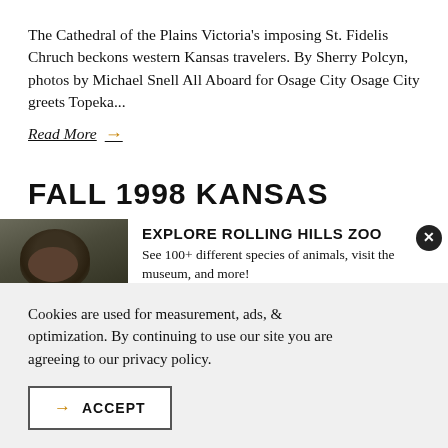The Cathedral of the Plains Victoria's imposing St. Fidelis Chruch beckons western Kansas travelers. By Sherry Polcyn, photos by Michael Snell All Aboard for Osage City Osage City greets Topeka...
Read More →
FALL 1998 KANSAS
[Figure (photo): Photo of a chimpanzee]
EXPLORE ROLLING HILLS ZOO
See 100+ different species of animals, visit the museum, and more!
Cookies are used for measurement, ads, & optimization. By continuing to use our site you are agreeing to our privacy policy.
→ ACCEPT